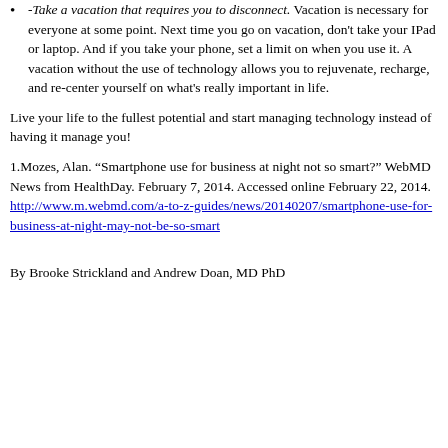-Take a vacation that requires you to disconnect. Vacation is necessary for everyone at some point. Next time you go on vacation, don't take your IPad or laptop. And if you take your phone, set a limit on when you use it. A vacation without the use of technology allows you to rejuvenate, recharge, and re-center yourself on what's really important in life.
Live your life to the fullest potential and start managing technology instead of having it manage you!
1.Mozes, Alan. “Smartphone use for business at night not so smart?” WebMD News from HealthDay. February 7, 2014. Accessed online February 22, 2014. http://www.m.webmd.com/a-to-z-guides/news/20140207/smartphone-use-for-business-at-night-may-not-be-so-smart
By Brooke Strickland and Andrew Doan, MD PhD